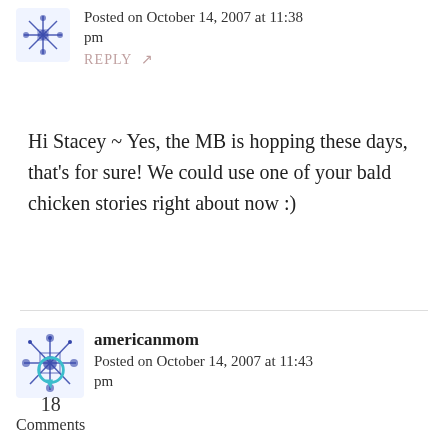Posted on October 14, 2007 at 11:38 pm
REPLY ↗
Hi Stacey ~ Yes, the MB is hopping these days, that's for sure! We could use one of your bald chicken stories right about now :)
americanmom
Posted on October 14, 2007 at 11:43 pm
18 Comments